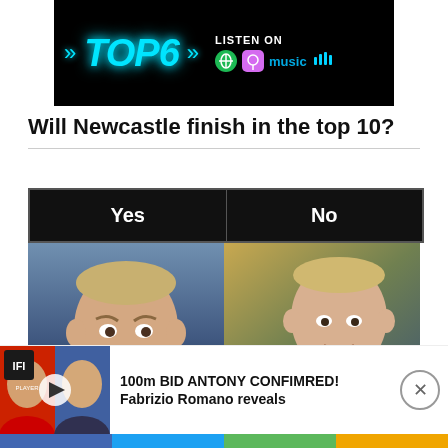[Figure (screenshot): TOP 6 podcast banner ad with neon blue text and streaming platform icons (Spotify, Apple Podcasts, Amazon Music) on black background]
Will Newcastle finish in the top 10?
[Figure (infographic): Poll with two options: Yes (left, photo of Eddie Howe looking worried) and No (right, photo of Eddie Howe clapping in blue tracksuit)]
[Figure (screenshot): Video notification: 100m BID ANTONY CONFIMRED! Fabrizio Romano reveals, with thumbnail showing players]
Social share bar with Facebook, Twitter, comment (0), like (0) buttons